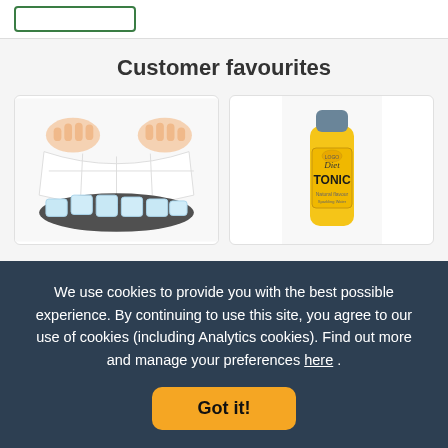Customer favourites
[Figure (photo): Hands peeling a white silicone ice tray with ice cubes underneath]
[Figure (photo): Yellow bottle of Diet Tonic with blue cap]
We use cookies to provide you with the best possible experience. By continuing to use this site, you agree to our use of cookies (including Analytics cookies). Find out more and manage your preferences here .
Got it!